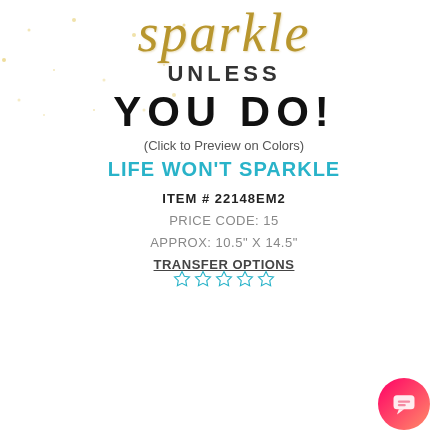[Figure (illustration): Decorative text graphic showing 'sparkle UNLESS YOU DO!' in gold italic script and bold black sans-serif fonts with glitter/sparkle dot effects]
(Click to Preview on Colors)
LIFE WON'T SPARKLE
ITEM # 22148EM2
PRICE CODE: 15
APPROX: 10.5" X 14.5"
TRANSFER OPTIONS
[Figure (illustration): Five empty star rating icons in cyan/teal outline]
Add to cart
[Figure (illustration): Pink gradient circular chat bubble button in bottom right corner]